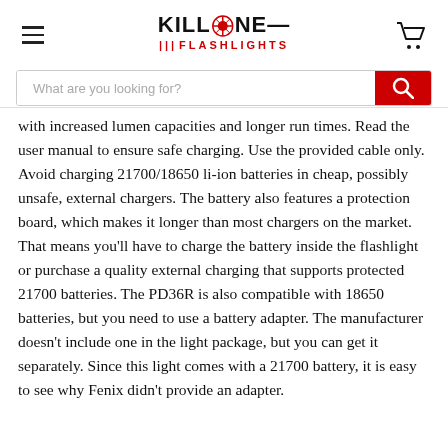KILLZONE FLASHLIGHTS
with increased lumen capacities and longer run times. Read the user manual to ensure safe charging. Use the provided cable only. Avoid charging 21700/18650 li-ion batteries in cheap, possibly unsafe, external chargers. The battery also features a protection board, which makes it longer than most chargers on the market. That means you'll have to charge the battery inside the flashlight or purchase a quality external charging that supports protected 21700 batteries. The PD36R is also compatible with 18650 batteries, but you need to use a battery adapter. The manufacturer doesn't include one in the light package, but you can get it separately. Since this light comes with a 21700 battery, it is easy to see why Fenix didn't provide an adapter.